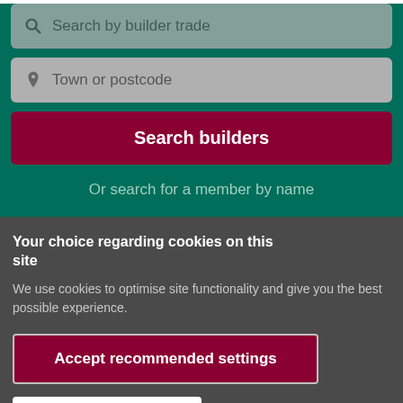[Figure (screenshot): Search field with magnifying glass icon and placeholder text 'Search by builder trade', greyed out input box]
[Figure (screenshot): Search field with location pin icon and placeholder text 'Town or postcode', greyed out input box]
Search builders
Or search for a member by name
Your choice regarding cookies on this site
We use cookies to optimise site functionality and give you the best possible experience.
Accept recommended settings
Settings